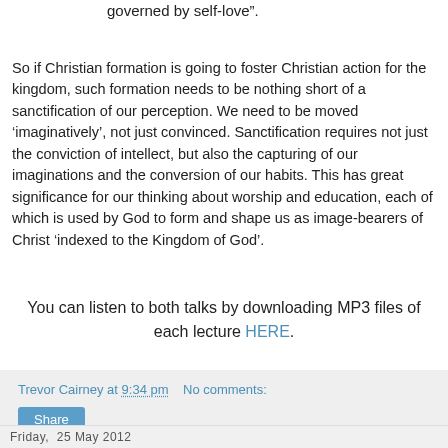governed by self-love”.
So if Christian formation is going to foster Christian action for the kingdom, such formation needs to be nothing short of a sanctification of our perception. We need to be moved ‘imaginatively’, not just convinced. Sanctification requires not just the conviction of intellect, but also the capturing of our imaginations and the conversion of our habits. This has great significance for our thinking about worship and education, each of which is used by God to form and shape us as image-bearers of Christ ‘indexed to the Kingdom of God’.
You can listen to both talks by downloading MP3 files of each lecture HERE.
Trevor Cairney at 9:34 pm   No comments:
Share
Friday, 25 May 2012